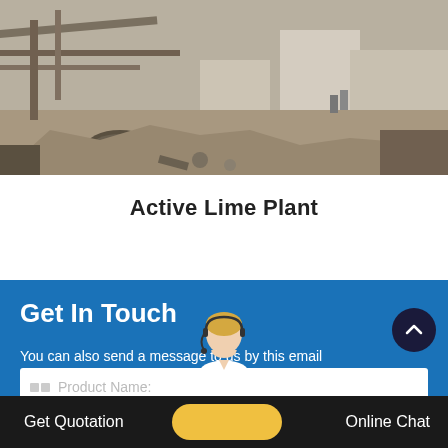[Figure (photo): Construction or industrial site with steel beams, pipes, rubble, and structures in background — appears to be an active lime plant or similar heavy industry site]
Active Lime Plant
Get In Touch
You can also send a message to us by this email query@sinoftm.com, we will reply tu you within 24 hours.Now tell us your need,there will be more favorable prices!
Product Name:
Get Quotation | Online Chat